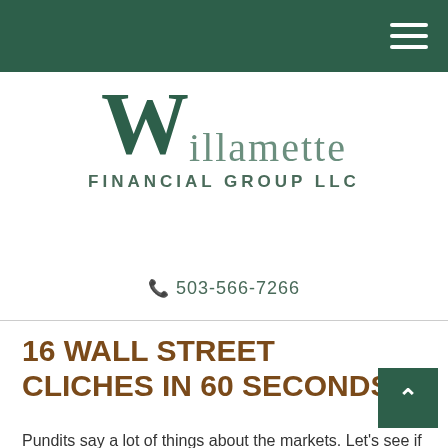Willamette Financial Group LLC — navigation header
[Figure (logo): Willamette Financial Group LLC logo with large decorative W in dark green and 'illamette FINANCIAL GROUP LLC' text]
☎ 503-566-7266
16 WALL STREET CLICHES IN 60 SECONDS
Pundits say a lot of things about the markets. Let's see if